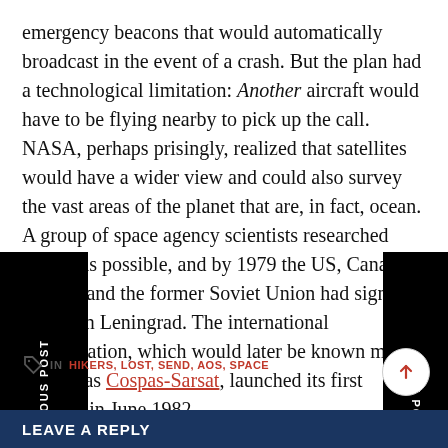emergency beacons that would automatically broadcast in the event of a crash. But the plan had a technological limitation: Another aircraft would have to be flying nearby to pick up the call. NASA, perhaps surprisingly, realized that satellites would have a wider view and could also survey the vast areas of the planet that are, in fact, ocean. A group of space agency scientists researched what was possible, and by 1979 the US, Canada, France, and the former Soviet Union had signed papers in Leningrad. The international collaboration, which would later be known more official as Cospas-Sarsat, launched its first satellite in June 1982.
IN  HIKERS, LOST, SEND, SOS, SPACE
LEAVE A REPLY